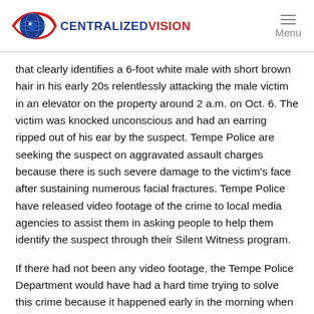[Figure (logo): Centralized Vision logo with globe/eye icon in blue and red, brand name CENTRALIZEDVISION in blue and red text]
that clearly identifies a 6-foot white male with short brown hair in his early 20s relentlessly attacking the male victim in an elevator on the property around 2 a.m. on Oct. 6. The victim was knocked unconscious and had an earring ripped out of his ear by the suspect. Tempe Police are seeking the suspect on aggravated assault charges because there is such severe damage to the victim's face after sustaining numerous facial fractures. Tempe Police have released video footage of the crime to local media agencies to assist them in asking people to help them identify the suspect through their Silent Witness program.
If there had not been any video footage, the Tempe Police Department would have had a hard time trying to solve this crime because it happened early in the morning when nobody else